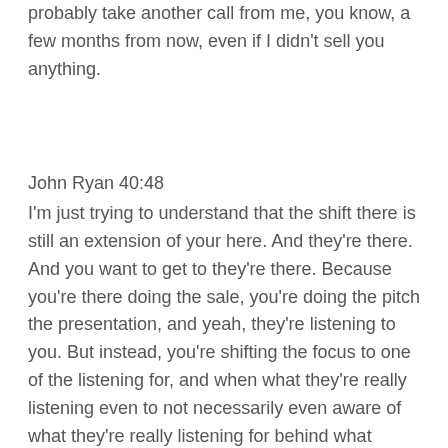probably take another call from me, you know, a few months from now, even if I didn't sell you anything.
John Ryan 40:48
I'm just trying to understand that the shift there is still an extension of your here. And they're there. And you want to get to they're there. Because you're there doing the sale, you're doing the pitch the presentation, and yeah, they're listening to you. But instead, you're shifting the focus to one of the listening for, and when what they're really listening even to not necessarily even aware of what they're really listening for behind what they're even aware